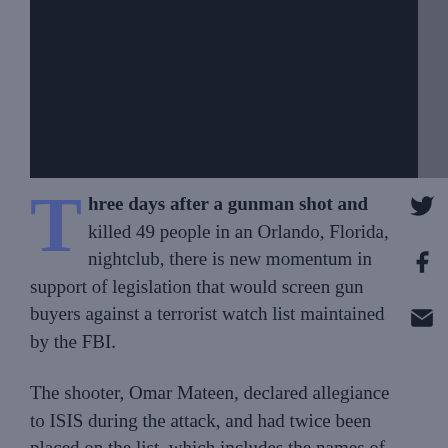[Figure (photo): Dark image placeholder at top of page, appears to be a news article photo]
Three days after a gunman shot and killed 49 people in an Orlando, Florida, nightclub, there is new momentum in support of legislation that would screen gun buyers against a terrorist watch list maintained by the FBI.
The shooter, Omar Mateen, declared allegiance to ISIS during the attack, and had twice been placed on the list, which includes the names of an estimated